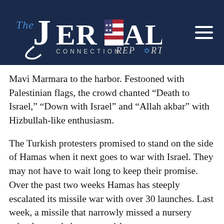[Figure (logo): The Jerusalem Connection Report logo on dark navy background with hamburger menu icon]
Mavi Marmara to the harbor. Festooned with Palestinian flags, the crowd chanted “Death to Israel,” “Down with Israel” and “Allah akbar” with Hizbullah-like enthusiasm.
The Turkish protesters promised to stand on the side of Hamas when it next goes to war with Israel. They may not have to wait long to keep their promise. Over the past two weeks Hamas has steeply escalated its missile war with over 30 launches. Last week, a missile that narrowly missed a nursery school wounded a young girl.
Since Operation Cast Lead two years ago, Iran has